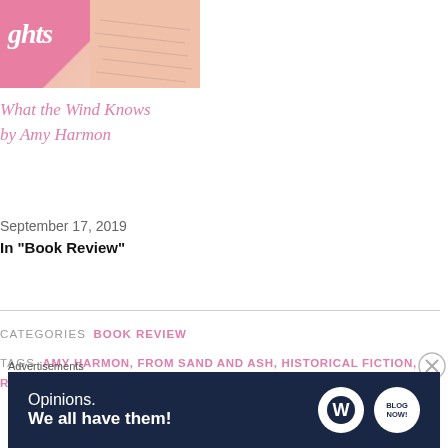[Figure (photo): Book cover image with pink background showing partial title text 'ghts' and a partially visible handwritten page]
What the Wind Knows by Amy Harmon
September 17, 2019
In "Book Review"
CATEGORIES  BOOK REVIEW
TAGS  AMY HARMON, FROM SAND AND ASH, HISTORICAL FICTION, ROMANCE, WORLD WAR II
PREVIOUS
Golden Threads by Suzanne Del Rizzo
Advertisements
[Figure (screenshot): WordPress advertisement banner with dark navy background showing 'Opinions. We all have them!' text with WordPress and Blog Now logos]